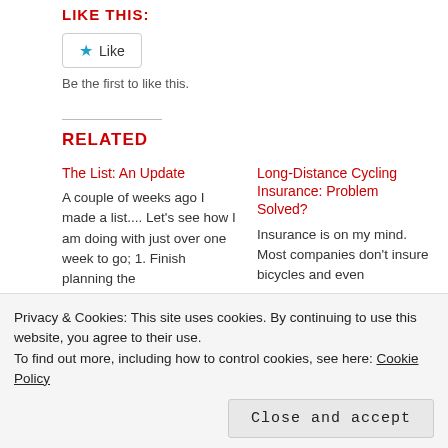LIKE THIS:
★ Like
Be the first to like this.
RELATED
The List: An Update
A couple of weeks ago I made a list.... Let's see how I am doing with just over one week to go; 1. Finish planning the
Long-Distance Cycling Insurance: Problem Solved?
Insurance is on my mind. Most companies don't insure bicycles and even
Privacy & Cookies: This site uses cookies. By continuing to use this website, you agree to their use.
To find out more, including how to control cookies, see here: Cookie Policy
Close and accept